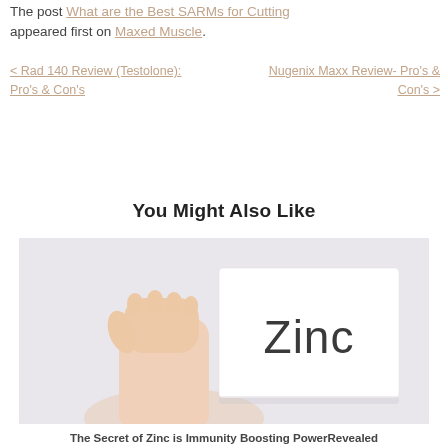The post What are the Best SARMs for Cutting appeared first on Maxed Muscle.
< Rad 140 Review (Testolone): Pro's & Con's
Nugenix Maxx Review- Pro's & Con's >
You Might Also Like
[Figure (photo): A hand holding a white card with the word 'Zinc' printed on it, against a light background.]
The Secret of Zinc is Immunity Boosting PowerRevealed